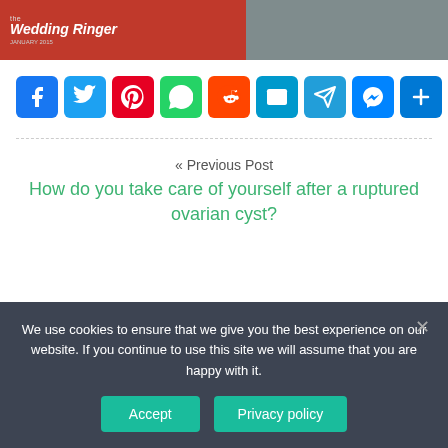[Figure (photo): Movie poster for 'The Wedding Ringer' on red background, alongside a person in a purple shirt and dark jacket]
[Figure (infographic): Row of social share buttons: Facebook, Twitter, Pinterest, WhatsApp, Reddit, Email, Telegram, Messenger, More]
« Previous Post
How do you take care of yourself after a ruptured ovarian cyst?
We use cookies to ensure that we give you the best experience on our website. If you continue to use this site we will assume that you are happy with it.
Accept  Privacy policy